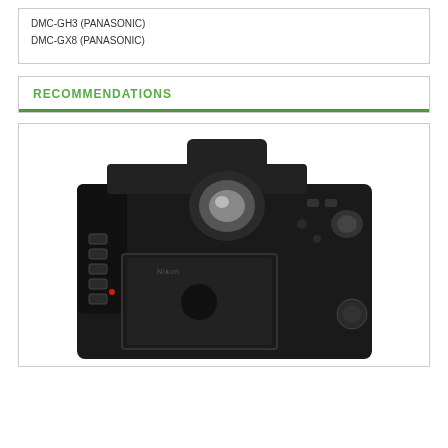DMC-GH3 (PANASONIC)
DMC-GX8 (PANASONIC)
RECOMMENDATIONS
[Figure (photo): Rear view of a Nikon DSLR camera body in black and white, showing the viewfinder eyepiece, LCD screen, and various control buttons.]